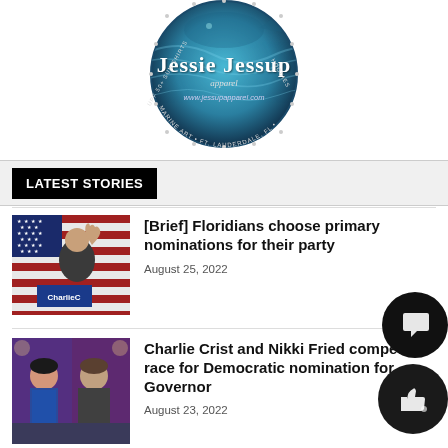[Figure (logo): Jessie Jessup Apparel circular badge logo with blue water/marine art background, text reads: Jessie Jessup apparel, www.jessupapparel.com, UPF 50+ Sun Shirts, Ft. Lauderdale, FL, Hoodies, Marine Art]
LATEST STORIES
[Figure (photo): Man in suit waving at a podium with American flag in background, Charlie Crist campaign sign visible]
[Brief] Floridians choose primary nominations for their party
August 25, 2022
[Figure (photo): Two people seated, one woman in blue top and one man, in a TV studio setting with purple background]
Charlie Crist and Nikki Fried compete in race for Democratic nomination for Governor
August 23, 2022